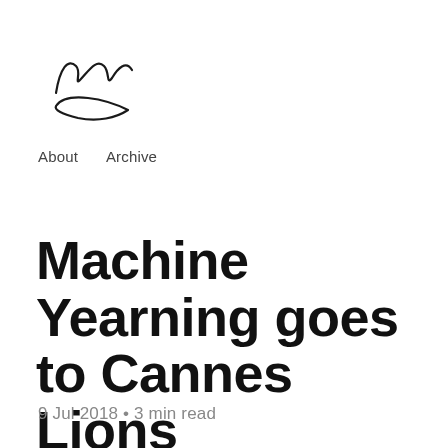[Figure (logo): Handwritten signature/logo mark in black ink, resembling stylized letters with a loop beneath]
About   Archive
Machine Yearning goes to Cannes Lions
9 Jul 2018 • 3 min read